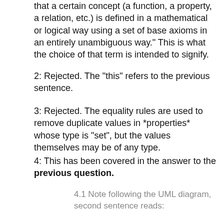that a certain concept (a function, a property, a relation, etc.) is defined in a mathematical or logical way using a set of base axioms in an entirely unambiguous way." This is what the choice of that term is intended to signify.
2: Rejected. The "this" refers to the previous sentence.
3: Rejected. The equality rules are used to remove duplicate values in *properties* whose type is "set", but the values themselves may be of any type.
4: This has been covered in the answer to the previous question.
4.1 Note following the UML diagram, second sentence reads:
"It is used here to simplify the UML diagrams using inheritance, and because the value of the [reifier] property of topic items can be any *topic map construct*."
The material I marked with the "*" seems problematic to me.